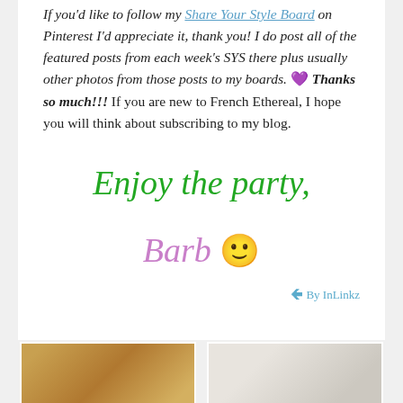If you'd like to follow my Share Your Style Board on Pinterest I'd appreciate it, thank you! I do post all of the featured posts from each week's SYS there plus usually other photos from those posts to my boards. 💜 Thanks so much!!! If you are new to French Ethereal, I hope you will think about subscribing to my blog.
Enjoy the party,
Barb 🙂
By InLinkz
[Figure (photo): Two thumbnail images at the bottom of the page, one showing a warm golden-toned photo and one showing a lighter gray-toned photo.]